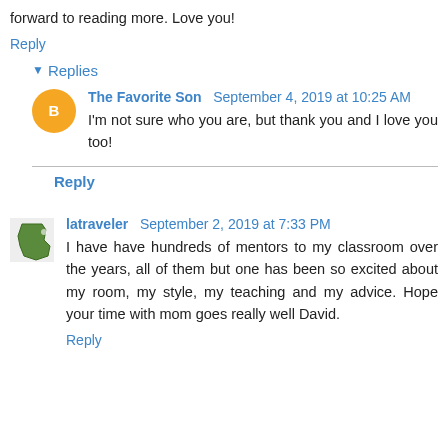forward to reading more. Love you!
Reply
Replies
The Favorite Son  September 4, 2019 at 10:25 AM
I'm not sure who you are, but thank you and I love you too!
Reply
latraveler  September 2, 2019 at 7:33 PM
I have have hundreds of mentors to my classroom over the years, all of them but one has been so excited about my room, my style, my teaching and my advice. Hope your time with mom goes really well David.
Reply